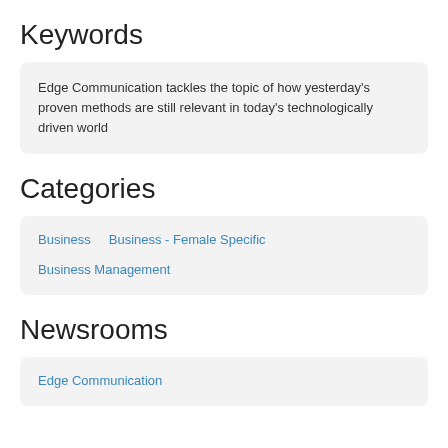Keywords
Edge Communication tackles the topic of how yesterday's proven methods are still relevant in today's technologically driven world
Categories
Business
Business - Female Specific
Business Management
Newsrooms
Edge Communication